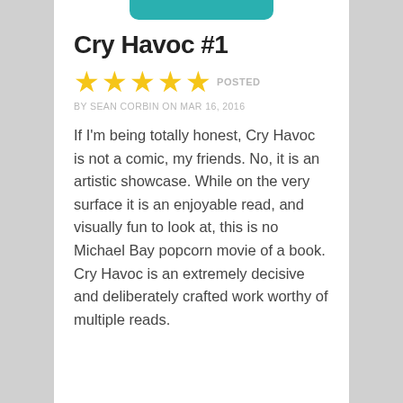Cry Havoc #1
[Figure (other): Five gold star rating icons with POSTED label to the right]
BY SEAN CORBIN ON MAR 16, 2016
If I'm being totally honest, Cry Havoc is not a comic, my friends. No, it is an artistic showcase. While on the very surface it is an enjoyable read, and visually fun to look at, this is no Michael Bay popcorn movie of a book. Cry Havoc is an extremely decisive and deliberately crafted work worthy of multiple reads.